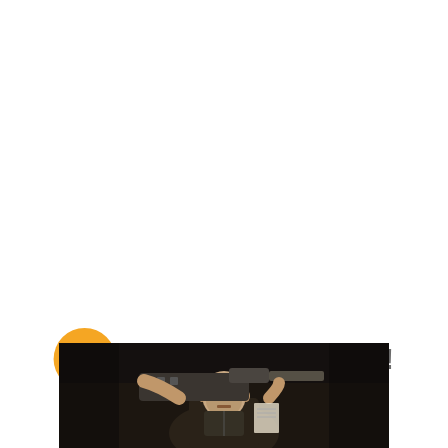Keep On Reading!
[Figure (photo): Dark action scene photo showing a muscular bald man holding a large weapon, partially cropped at bottom of page]